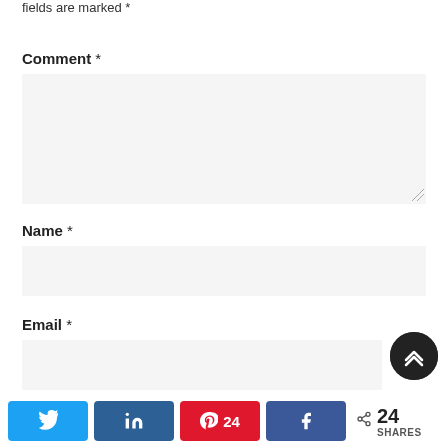fields are marked *
Comment *
[Figure (screenshot): Comment textarea input box with light gray background and resize handle]
Name *
[Figure (screenshot): Name text input box with light gray background]
Email *
[Figure (screenshot): Email text input box with light gray background]
[Figure (screenshot): Scroll to top button — dark circular button with chevron up arrows]
[Figure (infographic): Social share bar with Twitter, LinkedIn, Pinterest (24), Facebook buttons and 24 SHARES count]